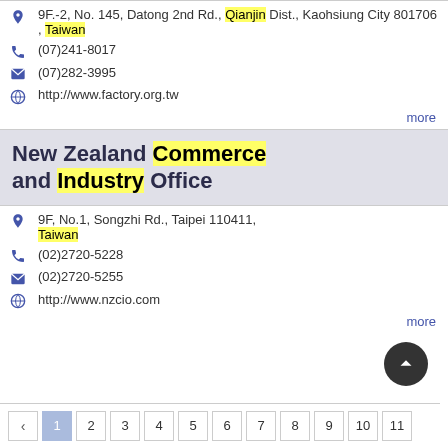9F.-2, No. 145, Datong 2nd Rd., Qianjin Dist., Kaohsiung City 801706 , Taiwan
(07)241-8017
(07)282-3995
http://www.factory.org.tw
more
New Zealand Commerce and Industry Office
9F, No.1, Songzhi Rd., Taipei 110411, Taiwan
(02)2720-5228
(02)2720-5255
http://www.nzcio.com
more
< 1 2 3 4 5 6 7 8 9 10 11